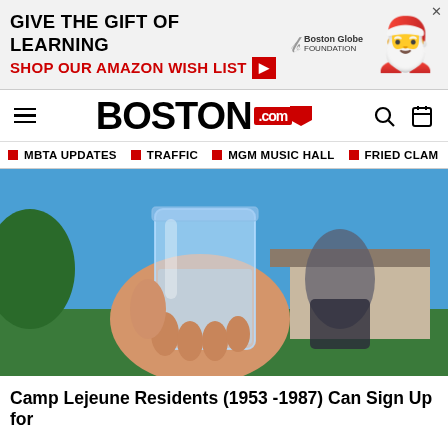[Figure (other): Advertisement banner: GIVE THE GIFT OF LEARNING / SHOP OUR AMAZON WISH LIST with Boston Globe Foundation logo and illustrated gift character]
BOSTON.com — navigation bar with hamburger menu, Boston.com logo, search and calendar icons
MBTA UPDATES
TRAFFIC
MGM MUSIC HALL
FRIED CLAM
[Figure (photo): Person holding a glass mason jar filled with water up to camera, outdoors with blue sky and house in background]
Camp Lejeune Residents (1953 -1987) Can Sign Up for